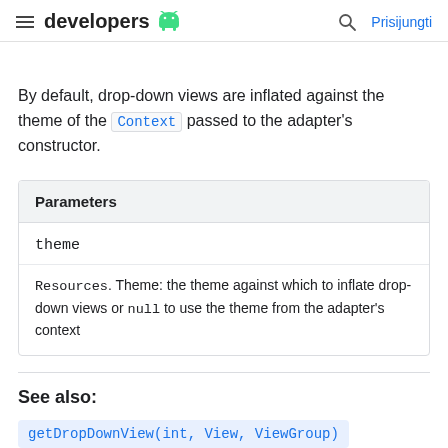developers | Prisijungti
By default, drop-down views are inflated against the theme of the Context passed to the adapter's constructor.
| Parameters |
| --- |
| theme |
| Resources.Theme: the theme against which to inflate drop-down views or null to use the theme from the adapter's context |
See also:
getDropDownView(int, View, ViewGroup)